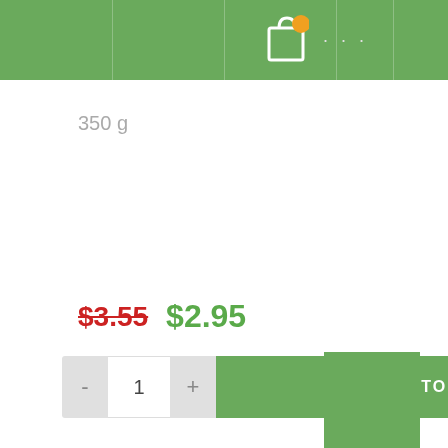[Figure (screenshot): Green navigation header bar with a shopping bag icon with orange badge and three dots menu icon]
350 g
$3.55  $2.95
[Figure (other): Add to cart widget with minus button, quantity field showing 1, plus button, and green ADD TO CART button]
[Figure (other): Green square block in the bottom right corner]